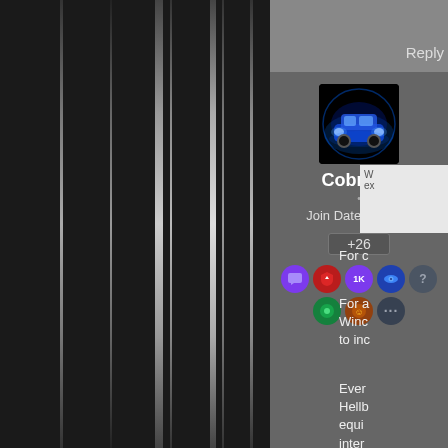[Figure (screenshot): Forum post user profile sidebar showing avatar of a blue glowing car, username CobraA1, join date 09/2006, reputation +26, and various badge icons. Left side shows dark panel with vertical light streaks. Right side shows truncated forum post text beginning with 'For c', 'For a Winc to inc', 'Ever Hellb equi inter'.]
CobraA1
Join Date 09/2006
+26
Reply
For c
For a Winc to inc
Ever Hellb equi inter